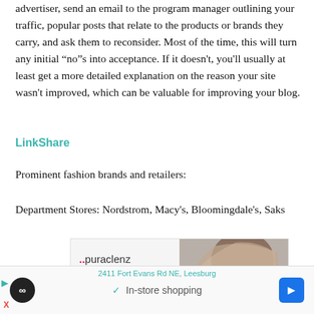advertiser, send an email to the program manager outlining your traffic, popular posts that relate to the products or brands they carry, and ask them to reconsider. Most of the time, this will turn any initial “no”s into acceptance. If it doesn't, you'll usually at least get a more detailed explanation on the reason your site wasn't improved, which can be valuable for improving your blog.
LinkShare
Prominent fashion brands and retailers:
Department Stores: Nordstrom, Macy's, Bloomingdale's, Saks
[Figure (illustration): Advertisement for puraclenz product showing a woman and text DESTROY MOLD &...]
[Figure (screenshot): Bottom browser bar showing address 2411 Fort Evans Rd NE, Leesburg, in-store shopping option, navigation icons]